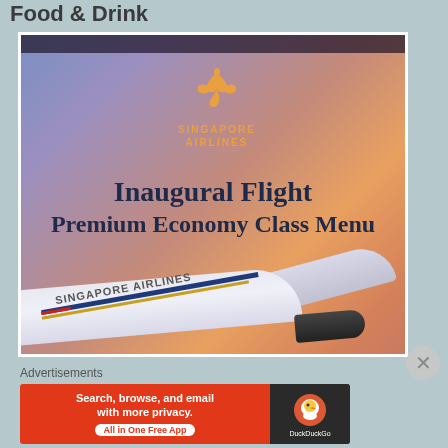Food & Drink
[Figure (photo): Photo of Singapore Airlines Inaugural Flight Premium Economy Class Menu booklet held up, with a Singapore Airlines model airplane in the foreground against a sunset/dusk sky background.]
Advertisements
[Figure (screenshot): DuckDuckGo advertisement banner: 'Search, browse, and email with more privacy. All in One Free App' on orange background, with DuckDuckGo duck logo on dark background on right side.]